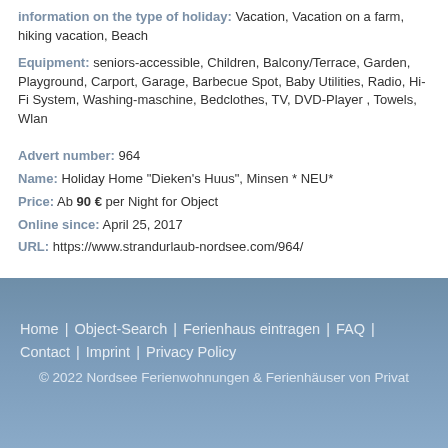information on the type of holiday: Vacation, Vacation on a farm, hiking vacation, Beach
Equipment: seniors-accessible, Children, Balcony/Terrace, Garden, Playground, Carport, Garage, Barbecue Spot, Baby Utilities, Radio, Hi-Fi System, Washing-maschine, Bedclothes, TV, DVD-Player , Towels, Wlan
Advert number: 964
Name: Holiday Home "Dieken's Huus", Minsen * NEU*
Price: Ab 90 € per Night for Object
Online since: April 25, 2017
URL: https://www.strandurlaub-nordsee.com/964/
Home | Object-Search | Ferienhaus eintragen | FAQ | Contact | Imprint | Privacy Policy
© 2022 Nordsee Ferienwohnungen & Ferienhäuser von Privat